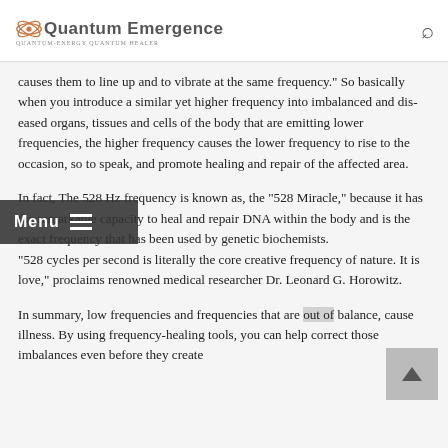Quantum Emergence — QUANTUM-ENERGY QUANTUM HEALER
causes them to line up and to vibrate at the same frequency." So basically when you introduce a similar yet higher frequency into imbalanced and dis-eased organs, tissues and cells of the body that are emitting lower frequencies, the higher frequency causes the lower frequency to rise to the occasion, so to speak, and promote healing and repair of the affected area.
In fact, The 528 Hz frequency is known as, the "528 Miracle," because it has the remarkable capacity to heal and repair DNA within the body and is the exact frequency that has been used by genetic biochemists. "528 cycles per second is literally the core creative frequency of nature. It is love," proclaims renowned medical researcher Dr. Leonard G. Horowitz.
In summary, low frequencies and frequencies that are out of balance, cause illness. By using frequency-healing tools, you can help correct those imbalances even before they create